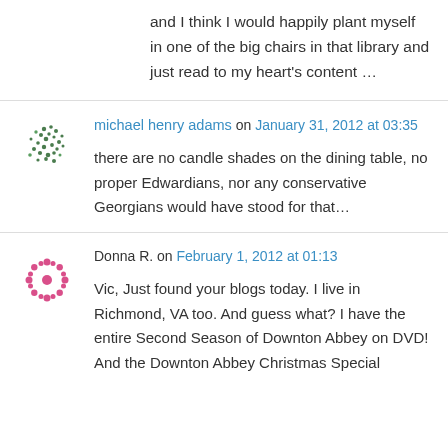and I think I would happily plant myself in one of the big chairs in that library and just read to my heart's content …
michael henry adams on January 31, 2012 at 03:35
there are no candle shades on the dining table, no proper Edwardians, nor any conservative Georgians would have stood for that…
Donna R. on February 1, 2012 at 01:13
Vic, Just found your blogs today. I live in Richmond, VA too. And guess what? I have the entire Second Season of Downton Abbey on DVD! And the Downton Abbey Christmas Special